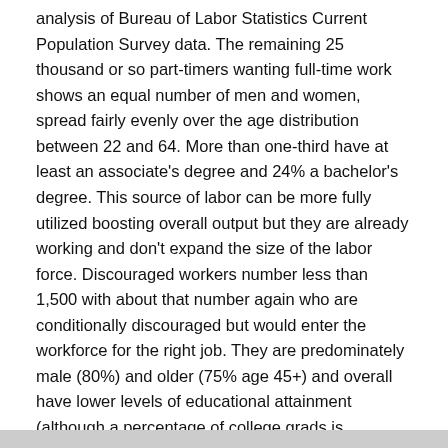analysis of Bureau of Labor Statistics Current Population Survey data. The remaining 25 thousand or so part-timers wanting full-time work shows an equal number of men and women, spread fairly evenly over the age distribution between 22 and 64. More than one-third have at least an associate's degree and 24% a bachelor's degree. This source of labor can be more fully utilized boosting overall output but they are already working and don't expand the size of the labor force. Discouraged workers number less than 1,500 with about that number again who are conditionally discouraged but would enter the workforce for the right job. They are predominately male (80%) and older (75% age 45+) and overall have lower levels of educational attainment (although a percentage of college grads is included).